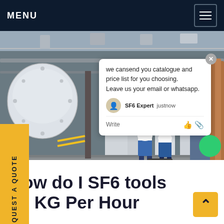MENU
[Figure (photo): Industrial facility showing large white spherical and cylindrical SF6 gas equipment/tanks with pipes and workers in blue uniforms and hard hats working on equipment, with a chat popup overlay showing 'we cansend you catalogue and price list for you choosing. Leave us your email or whatsapp.' signed by SF6 Expert, and SF6China watermark]
REQUEST A QUOTE
How do I SF6 tools 20 KG Per Hour